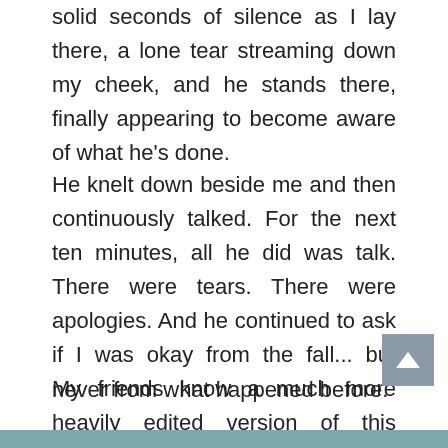solid seconds of silence as I lay there, a lone tear streaming down my cheek, and he stands there, finally appearing to become aware of what he's done.
He knelt down beside me and then continuously talked. For the next ten minutes, all he did was talk. There were tears. There were apologies. And he continued to ask if I was okay from the fall... but never from what happened before.
My friends know a much more heavily edited version of this story...and most versions end with me storming out the door and refusing